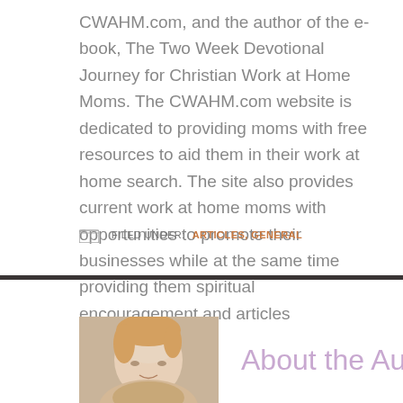CWAHM.com, and the author of the e-book, The Two Week Devotional Journey for Christian Work at Home Moms. The CWAHM.com website is dedicated to providing moms with free resources to aid them in their work at home search. The site also provides current work at home moms with opportunities to promote their businesses while at the same time providing them spiritual encouragement and articles
FILED UNDER: ARTICLES, GENERAL
[Figure (photo): Portrait photo of a blonde woman smiling]
About the Author